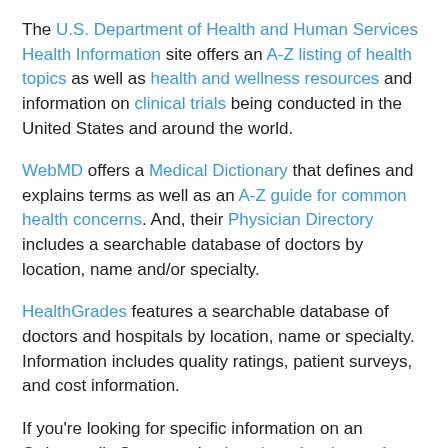The U.S. Department of Health and Human Services Health Information site offers an A-Z listing of health topics as well as health and wellness resources and information on clinical trials being conducted in the United States and around the world.
WebMD offers a Medical Dictionary that defines and explains terms as well as an A-Z guide for common health concerns. And, their Physician Directory includes a searchable database of doctors by location, name and/or specialty.
HealthGrades features a searchable database of doctors and hospitals by location, name or specialty. Information includes quality ratings, patient surveys, and cost information.
If you're looking for specific information on an Orthopaedic Surgeon, the American Academy of Orthopaedic Surgeons has a searchable database by doctor's name and location.
Mobile Apps